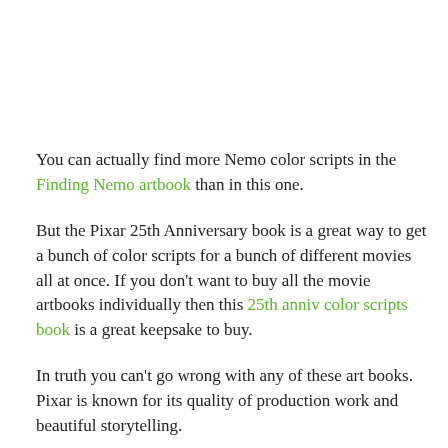You can actually find more Nemo color scripts in the Finding Nemo artbook than in this one.
But the Pixar 25th Anniversary book is a great way to get a bunch of color scripts for a bunch of different movies all at once. If you don't want to buy all the movie artbooks individually then this 25th anniv color scripts book is a great keepsake to buy.
In truth you can't go wrong with any of these art books. Pixar is known for its quality of production work and beautiful storytelling.